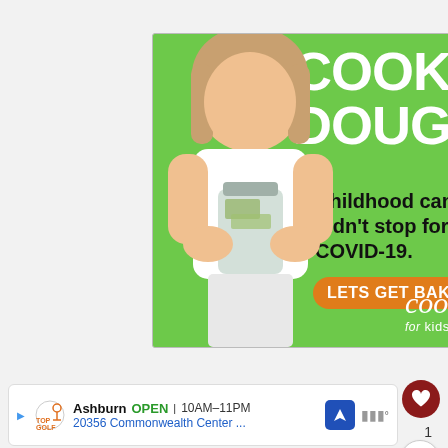[Figure (screenshot): Screenshot of a webpage showing a Cookies for Kids Cancer advertisement. The ad has a green background with a smiling young girl holding a jar of money. White bold text reads 'COOKIE DOUGH'. Below that: 'Childhood cancer didn't stop for COVID-19.' An orange pill button reads 'LETS GET BAKING!' and the Cookies for Kids Cancer logo appears at the bottom. A red heart reaction button with '1' below is on the right side. At the bottom is a Topgolf location bar showing 'Ashburn OPEN 10AM-11PM 20356 Commonwealth Center ...' with a navigation arrow and weather area.]